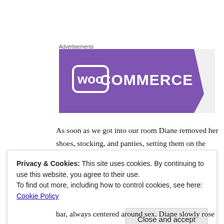Advertisements
[Figure (logo): WooCommerce advertisement banner with purple background and white WooCommerce logo text]
As soon as we got into our room Diane removed her shoes, stocking, and panties, setting them on the table so that Mike would no doubt see them. She then sat one of the stuffed chairs, after she moved it into position to face the other chair and bed.
Privacy & Cookies: This site uses cookies. By continuing to use this website, you agree to their use.
To find out more, including how to control cookies, see here: Cookie Policy
Close and accept
bar, always centered around sex. Diane slowly rose